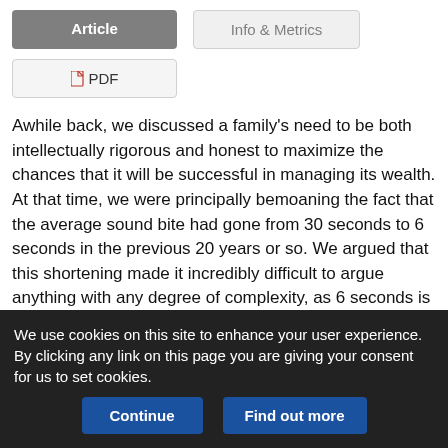Article
Info & Metrics
PDF
Awhile back, we discussed a family's need to be both intellectually rigorous and honest to maximize the chances that it will be successful in managing its wealth. At that time, we were principally bemoaning the fact that the average sound bite had gone from 30 seconds to 6 seconds in the previous 20 years or so. We argued that this shortening made it incredibly difficult to argue anything with any degree of complexity, as 6 seconds is a pretty short time to go beyond mere platitudes. Little did we know then that we were only
We use cookies on this site to enhance your user experience. By clicking any link on this page you are giving your consent for us to set cookies.
Continue
Find out more